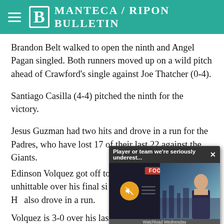Manteca / Ripon Bulletin
Brandon Belt walked to open the ninth and Angel Pagan singled. Both runners moved up on a wild pitch ahead of Crawford's single against Joe Thatcher (0-4).
Santiago Casilla (4-4) pitched the ninth for the victory.
Jesus Guzman had two hits and drove in a run for the Padres, who have lost 17 of their last 22 against the Giants.
[Figure (screenshot): Video popup overlay showing 'Player or team we're seriously underest...' with NFL Football branding and presenter]
Edinson Volquez got off to a rough start but was unhittable over his final six innings, allowing three hits over seven innings. He also drove in a run.
Volquez is 3-0 over his las...